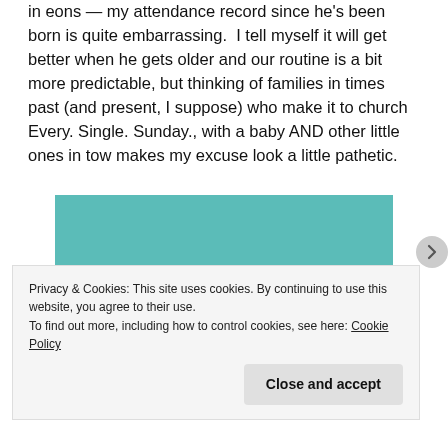in eons — my attendance record since he's been born is quite embarrassing.  I tell myself it will get better when he gets older and our routine is a bit more predictable, but thinking of families in times past (and present, I suppose) who make it to church Every. Single. Sunday., with a baby AND other little ones in tow makes my excuse look a little pathetic.
[Figure (photo): Top-down view of a baby's head against a teal/turquoise background, showing soft fine hair on the scalp.]
Privacy & Cookies: This site uses cookies. By continuing to use this website, you agree to their use.
To find out more, including how to control cookies, see here: Cookie Policy
Close and accept